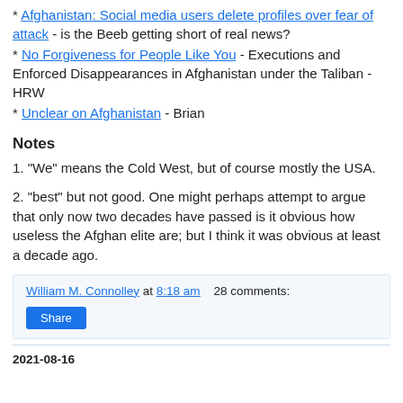* Afghanistan: Social media users delete profiles over fear of attack - is the Beeb getting short of real news?
* No Forgiveness for People Like You - Executions and Enforced Disappearances in Afghanistan under the Taliban - HRW
* Unclear on Afghanistan - Brian
Notes
1. "We" means the Cold West, but of course mostly the USA.
2. "best" but not good. One might perhaps attempt to argue that only now two decades have passed is it obvious how useless the Afghan elite are; but I think it was obvious at least a decade ago.
William M. Connolley at 8:18 am   28 comments:
Share
2021-08-16